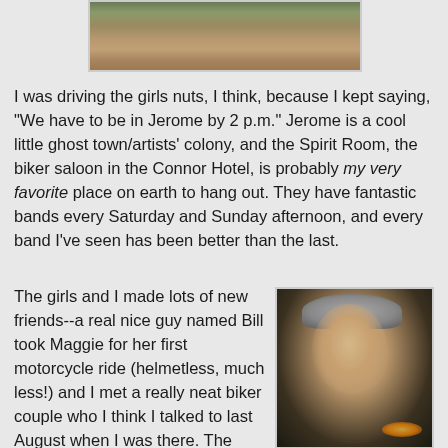[Figure (photo): Partial top of a photo showing red rock landscape with desert scrub vegetation]
I was driving the girls nuts, I think, because I kept saying, "We have to be in Jerome by 2 p.m." Jerome is a cool little ghost town/artists' colony, and the Spirit Room, the biker saloon in the Connor Hotel, is probably my very favorite place on earth to hang out. They have fantastic bands every Saturday and Sunday afternoon, and every band I've seen has been better than the last.
The girls and I made lots of new friends--a real nice guy named Bill took Maggie for her first motorcycle ride (helmetless, much less!) and I met a really neat biker couple who I think I talked to last August when I was there. The husband, Norm, was a super-smiley guy who looked a little like Nick Nolte had he aged better and when we found out we have the same birthday, we were
[Figure (photo): Photo of a smiling woman wearing a white baseball cap, taken at night with lights visible in the background]